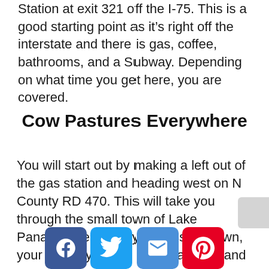Station at exit 321 off the I-75. This is a good starting point as it's right off the interstate and there is gas, coffee, bathrooms, and a Subway. Depending on what time you get here, you are covered.
Cow Pastures Everywhere
You will start out by making a left out of the gas station and heading west on N County RD 470. This will take you through the small town of Lake Panasoffkee. Once you pass the town, your scenery will be open pastures and